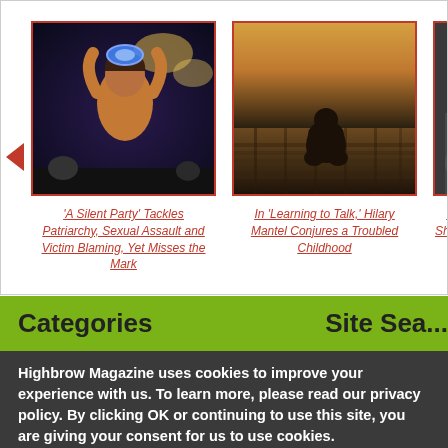[Figure (photo): Carousel with three article cards. First card shows a person at a nighttime event holding something glowing blue. Second card shows a silhouette of a person sitting in a hunched, sad pose on a dock at sunset. Third card (partially visible) shows a black-and-white photo.]
'A Silent Party' Tackles Patriarchy, Sexual Assault and Victim Blaming, Yet Misses the Mark
In 'Learning to Talk,' Hilary Mantel Conjures a Troubled Childhood
'The Ma... Shows a... the V...
Categories
Site Sea...
Highbrow Magazine uses cookies to improve your experience with us. To learn more, please read our privacy policy. By clicking OK or continuing to use this site, you are giving your consent for us to use cookies.
More info